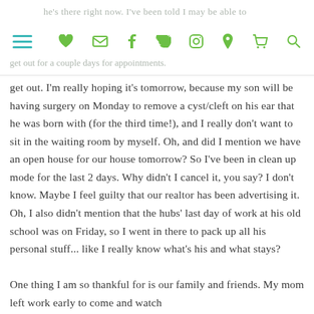he's there right now. I've been told I may be able to get out for a couple days for appointments.
get out. I'm really hoping it's tomorrow, because my son will be having surgery on Monday to remove a cyst/cleft on his ear that he was born with (for the third time!), and I really don't want to sit in the waiting room by myself. Oh, and did I mention we have an open house for our house tomorrow? So I've been in clean up mode for the last 2 days. Why didn't I cancel it, you say? I don't know. Maybe I feel guilty that our realtor has been advertising it. Oh, I also didn't mention that the hubs' last day of work at his old school was on Friday, so I went in there to pack up all his personal stuff... like I really know what's his and what stays?

One thing I am so thankful for is our family and friends. My mom left work early to come and watch